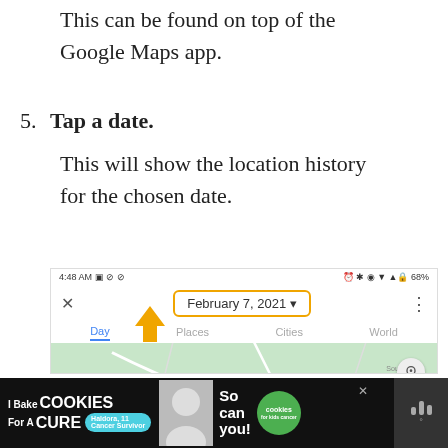This can be found on top of the Google Maps app.
5. Tap a date.
This will show the location history for the chosen date.
[Figure (screenshot): Screenshot of Google Maps app showing a date picker with 'February 7, 2021' selected, with an orange arrow pointing to the date box, and navigation tabs: Day, Places, Cities, World. A partial map view is visible below.]
[Figure (screenshot): Advertisement banner at the bottom: 'I Bake COOKIES For A CURE' with a child photo and 'So can you!' text and green cookies badge.]